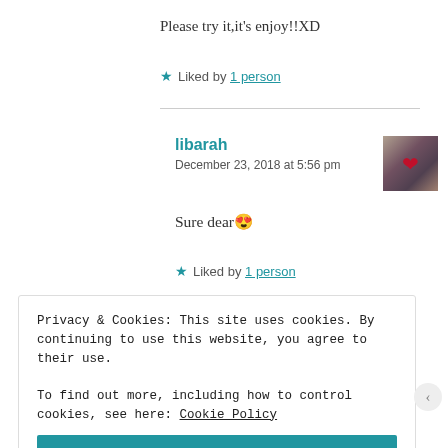Please try it,it's enjoy!!XD
★ Liked by 1 person
libarah
December 23, 2018 at 5:56 pm
Sure dear😍
★ Liked by 1 person
Privacy & Cookies: This site uses cookies. By continuing to use this website, you agree to their use.
To find out more, including how to control cookies, see here: Cookie Policy
Close and accept